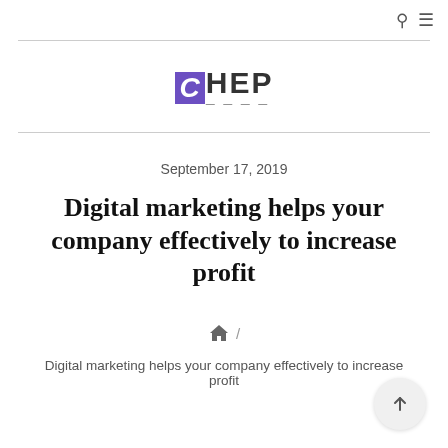Search and Menu icons
[Figure (logo): CHEP logo with purple C in a box and HEP text with dots underline]
September 17, 2019
Digital marketing helps your company effectively to increase profit
Home / Digital marketing helps your company effectively to increase profit